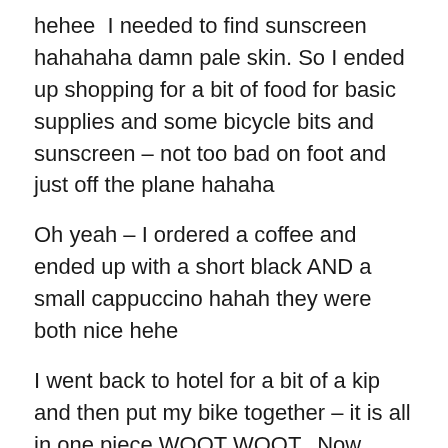hehee  I needed to find sunscreen hahahaha damn pale skin. So I ended up shopping for a bit of food for basic supplies and some bicycle bits and sunscreen – not too bad on foot and just off the plane hahaha
Oh yeah – I ordered a coffee and ended up with a short black AND a small cappuccino hahah they were both nice hehe
I went back to hotel for a bit of a kip and then put my bike together – it is all in one piece WOOT WOOT.  Now basically all I need to do is some mapping for the next few days and pack my panniers – that is a tomorrow job.
After I awoke, I went downstairs and asked around for a nice place to eat – one phone call later and an old man came and picked me up and took me to his restaurant. It was a lovely little cafe and I couldn't believe I got picked...